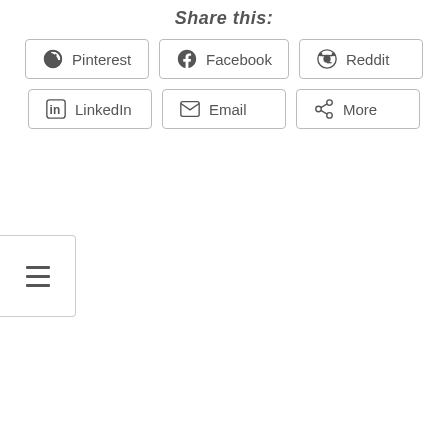Share this:
Pinterest
Facebook
Reddit
LinkedIn
Email
More
[Figure (other): Hamburger menu button icon with three horizontal lines]